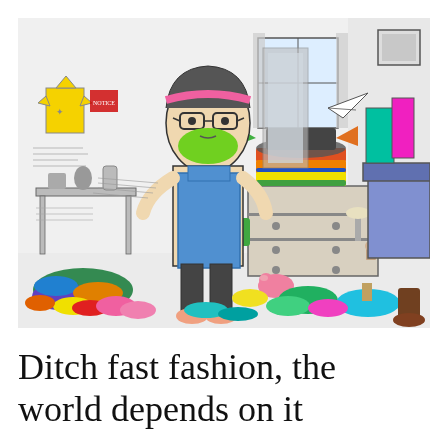[Figure (illustration): A hand-drawn and colored illustration showing a person wearing glasses, a pink headband, a green face covering, and a blue apron standing in a cluttered bedroom/messy room. The room is filled with colorful clothing items scattered on the floor (purple, green, orange, yellow, pink, teal piles of clothes), a dresser with stacked colorful items, a yellow shirt hanging on the wall, a bed visible on the right with colorful garments hanging, and various other room furniture and items. The drawing is done in black ink with watercolor/marker coloring on selective elements.]
Ditch fast fashion, the world depends on it